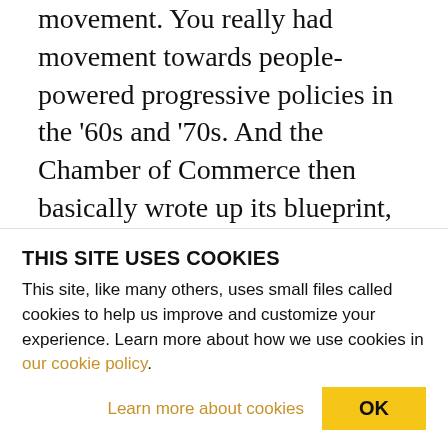movement. You really had movement towards people-powered progressive policies in the '60s and '70s. And the Chamber of Commerce then basically wrote up its blueprint, which then led to the likes of ALEC, the American Legislation Exchange Council, the American Business Roundtable, the Heritage Foundation, any number of institutions which have really been steering our course over the cliff. It's been great for the 1 percent, but for the rest of us it's really been a progressive and unmitigated disaster, and the attack on labor and all the rest. So there's a very big process going on here.
THIS SITE USES COOKIES
This site, like many others, uses small files called cookies to help us improve and customize your experience. Learn more about how we use cookies in our cookie policy.
Learn more about cookies   OK